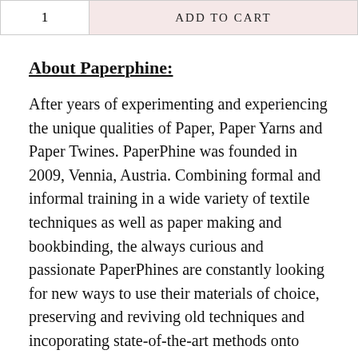[Figure (other): Add to cart UI element with quantity box showing '1' and a pink 'ADD TO CART' button]
About Paperphine:
After years of experimenting and experiencing the unique qualities of Paper, Paper Yarns and Paper Twines. PaperPhine was founded in 2009, Vennia, Austria. Combining formal and informal training in a wide variety of textile techniques as well as paper making and bookbinding, the always curious and passionate PaperPhines are constantly looking for new ways to use their materials of choice, preserving and reviving old techniques and incoporating state-of-the-art methods onto their designs.
Strong, colorful and fun! There are countless possibilities to use it. Crocheting, knitting,